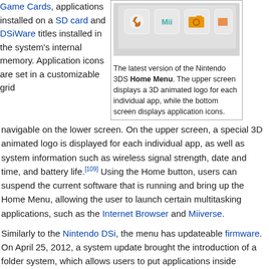Game Cards, applications installed on a SD card and DSiWare titles installed in the system's internal memory. Application icons are set in a customizable grid navigable on the lower screen. On the upper screen, a special 3D animated logo is displayed for each individual app, as well as system information such as wireless signal strength, date and time, and battery life.[109] Using the Home button, users can suspend the current software that is running and bring up the Home Menu, allowing the user to launch certain multitasking applications, such as the Internet Browser and Miiverse.
[Figure (screenshot): Screenshot of the Nintendo 3DS Home Menu showing app icons including a wrench/settings, Mii, camera, and another icon on a light grey background]
The latest version of the Nintendo 3DS Home Menu. The upper screen displays a 3D animated logo for each individual app, while the bottom screen displays application icons.
Similarly to the Nintendo DSi, the menu has updateable firmware. On April 25, 2012, a system update brought the introduction of a folder system, which allows users to put applications inside folders. [110] On June 20, 2013, a system update brought the introduction of